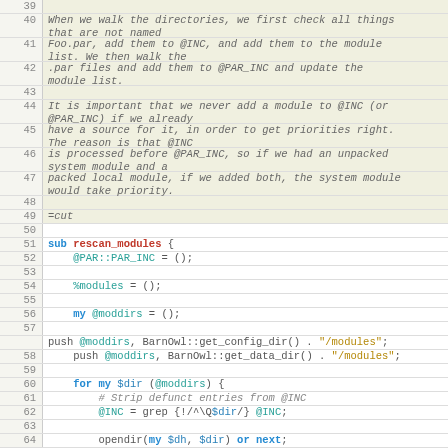[Figure (screenshot): Code editor view showing Perl source code with line numbers 39-64. Lines 40-49 contain POD documentation comments in italic. Lines 51-64 contain Perl code for a rescan_modules subroutine with syntax highlighting.]